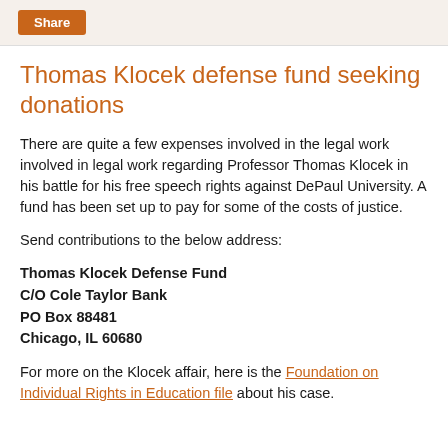Share
Thomas Klocek defense fund seeking donations
There are quite a few expenses involved in the legal work involved in legal work regarding Professor Thomas Klocek in his battle for his free speech rights against DePaul University. A fund has been set up to pay for some of the costs of justice.
Send contributions to the below address:
Thomas Klocek Defense Fund
C/O Cole Taylor Bank
PO Box 88481
Chicago, IL 60680
For more on the Klocek affair, here is the Foundation on Individual Rights in Education file about his case.